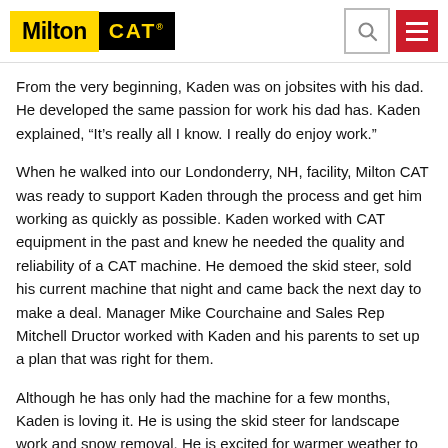Milton CAT
From the very beginning, Kaden was on jobsites with his dad. He developed the same passion for work his dad has. Kaden explained, “It’s really all I know. I really do enjoy work.”
When he walked into our Londonderry, NH, facility, Milton CAT was ready to support Kaden through the process and get him working as quickly as possible. Kaden worked with CAT equipment in the past and knew he needed the quality and reliability of a CAT machine. He demoed the skid steer, sold his current machine that night and came back the next day to make a deal. Manager Mike Courchaine and Sales Rep Mitchell Dructor worked with Kaden and his parents to set up a plan that was right for them.
Although he has only had the machine for a few months, Kaden is loving it. He is using the skid steer for landscape work and snow removal. He is excited for warmer weather to return so he can put the machine to use fulltime.